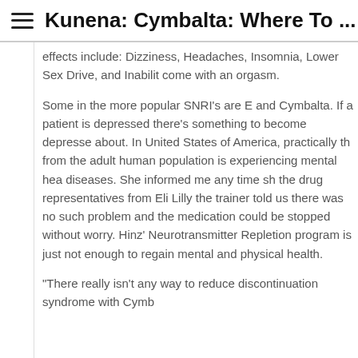Kunena: Cymbalta: Where To ...
effects include: Dizziness, Headaches, Insomnia, Lower Sex Drive, and Inability to come with an orgasm.
Some in the more popular SNRI's are Effexor and Cymbalta. If a patient is depressed there's something to become depressed about. In United States of America, practically th from the adult human population is experiencing mental health diseases. She informed me any time she the drug representatives from Eli Lilly came the trainer told us there was no such problem and the medication could be stopped without worry. Hinz' Neurotransmitter Repletion program alone is just not enough to regain mental and physical health.
"There really isn't any way to reduce discontinuation syndrome with Cymba...